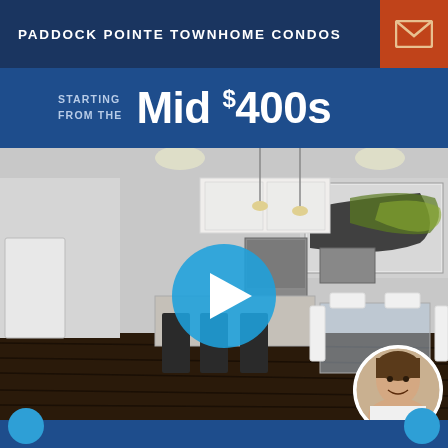PADDOCK POINTE TOWNHOME CONDOS
STARTING FROM THE Mid $400s
[Figure (photo): Interior photo of a modern townhome kitchen and dining area with dark hardwood floors, white cabinetry, stainless steel appliances, kitchen island with bar stools, and a glass dining table with white chairs. A play button overlay is centered on the image. An agent headshot appears in the bottom right corner.]